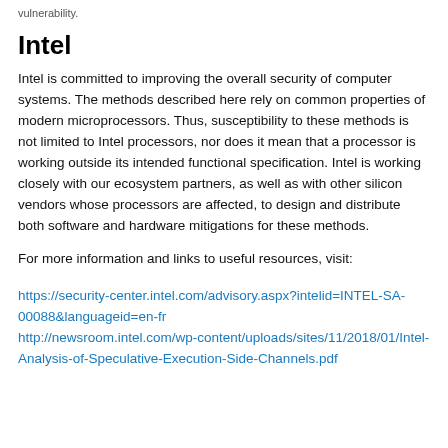vulnerability.
Intel
Intel is committed to improving the overall security of computer systems. The methods described here rely on common properties of modern microprocessors. Thus, susceptibility to these methods is not limited to Intel processors, nor does it mean that a processor is working outside its intended functional specification. Intel is working closely with our ecosystem partners, as well as with other silicon vendors whose processors are affected, to design and distribute both software and hardware mitigations for these methods.
For more information and links to useful resources, visit:
https://security-center.intel.com/advisory.aspx?intelid=INTEL-SA-00088&languageid=en-fr
http://newsroom.intel.com/wp-content/uploads/sites/11/2018/01/Intel-Analysis-of-Speculative-Execution-Side-Channels.pdf